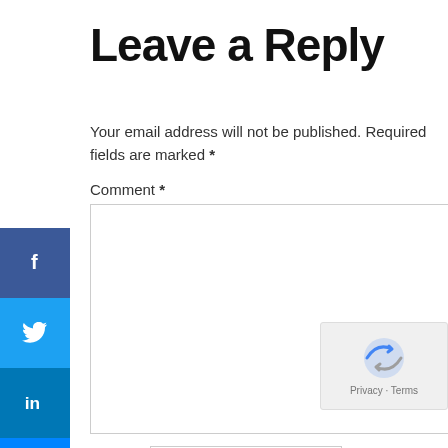Leave a Reply
Your email address will not be published. Required fields are marked *
Comment *
Name *